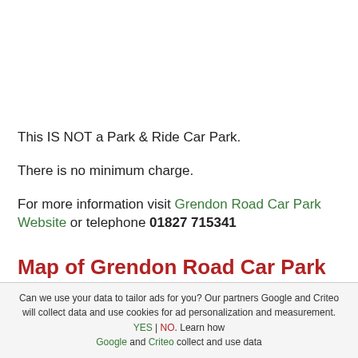This IS NOT a Park & Ride Car Park.
There is no minimum charge.
For more information visit Grendon Road Car Park Website or telephone 01827 715341
Map of Grendon Road Car Park
Can we use your data to tailor ads for you? Our partners Google and Criteo will collect data and use cookies for ad personalization and measurement. YES | NO. Learn how Google and Criteo collect and use data